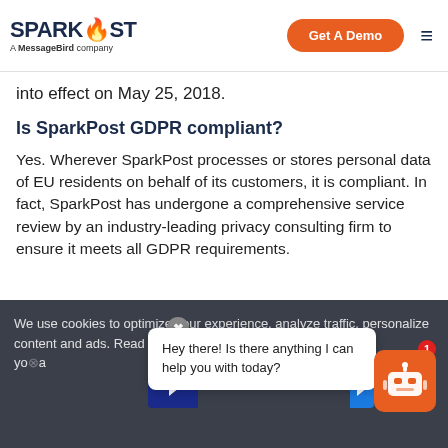SparkPost — A MessageBird company | Get A Demo
into effect on May 25, 2018.
Is SparkPost GDPR compliant?
Yes. Wherever SparkPost processes or stores personal data of EU residents on behalf of its customers, it is compliant. In fact, SparkPost has undergone a comprehensive service review by an industry-leading privacy consulting firm to ensure it meets all GDPR requirements.
We use cookies to optimize your experience, analyze traffic, personalize content and ads. Read about how we use cookies and how you adjust settings
Hey there! Is there anything I can help you with today?